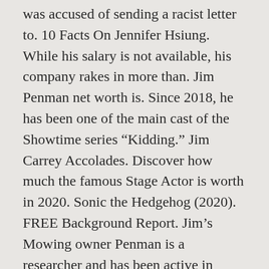was accused of sending a racist letter to. 10 Facts On Jennifer Hsiung. While his salary is not available, his company rakes in more than. Jim Penman net worth is. Since 2018, he has been one of the main cast of the Showtime series “Kidding.” Jim Carrey Accolades. Discover how much the famous Stage Actor is worth in 2020. Sonic the Hedgehog (2020). FREE Background Report. Jim’s Mowing owner Penman is a researcher and has been active in researching human culture and behavior. Plumbella’s Boyfriend, Age and Instagram. Jim’s Plumbing is part of the hugely successful Jim’s Group, first franchised by Jim Penman, a man passionate about customer service and with a business reputation second to none.The Jim’s Group